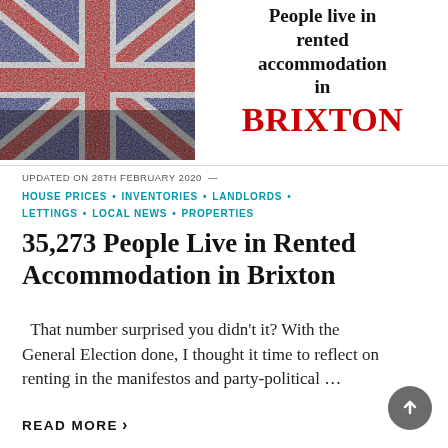[Figure (photo): Union Jack (UK flag) with distressed/grunge effect in red, white and blue]
People live in rented accommodation in BRIXTON
UPDATED ON 28TH FEBRUARY 2020 —
HOUSE PRICES • INVENTORIES • LANDLORDS • LETTINGS • LOCAL NEWS • PROPERTIES
35,273 People Live in Rented Accommodation in Brixton
That number surprised you didn't it? With the General Election done, I thought it time to reflect on renting in the manifestos and party-political ...
READ MORE ›